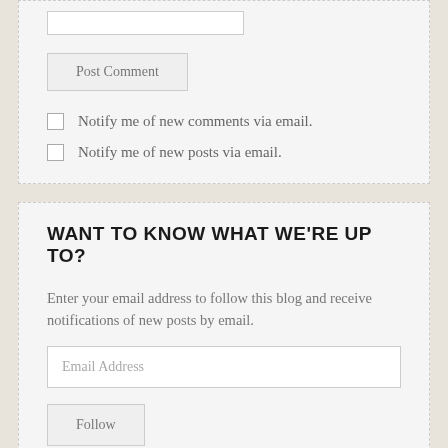[input field - top]
Post Comment
Notify me of new comments via email.
Notify me of new posts via email.
WANT TO KNOW WHAT WE'RE UP TO?
Enter your email address to follow this blog and receive notifications of new posts by email.
Email Address
Follow